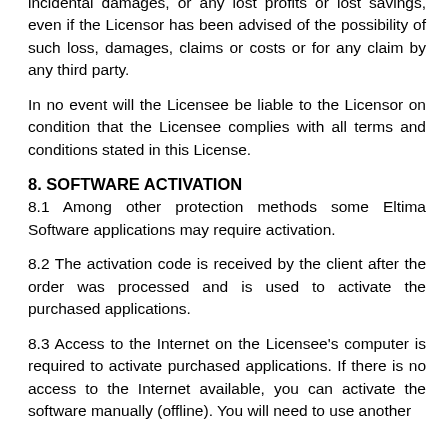incidental damages, or any lost profits or lost savings, even if the Licensor has been advised of the possibility of such loss, damages, claims or costs or for any claim by any third party.
In no event will the Licensee be liable to the Licensor on condition that the Licensee complies with all terms and conditions stated in this License.
8. SOFTWARE ACTIVATION
8.1 Among other protection methods some Eltima Software applications may require activation.
8.2 The activation code is received by the client after the order was processed and is used to activate the purchased applications.
8.3 Access to the Internet on the Licensee's computer is required to activate purchased applications. If there is no access to the Internet available, you can activate the software manually (offline). You will need to use another